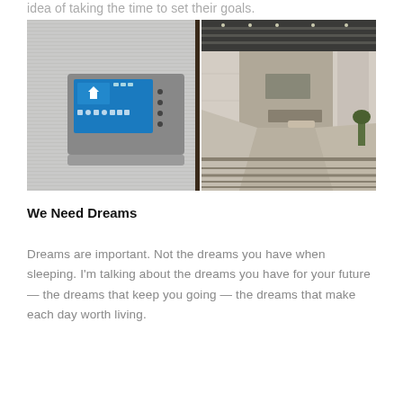idea of taking the time to set their goals.
[Figure (photo): Two side-by-side photos: left shows a smart home wall panel with a touchscreen displaying home control icons; right shows a luxurious modern building lobby with marble walls and a reflective tiled floor.]
We Need Dreams
Dreams are important. Not the dreams you have when sleeping. I'm talking about the dreams you have for your future — the dreams that keep you going — the dreams that make each day worth living.